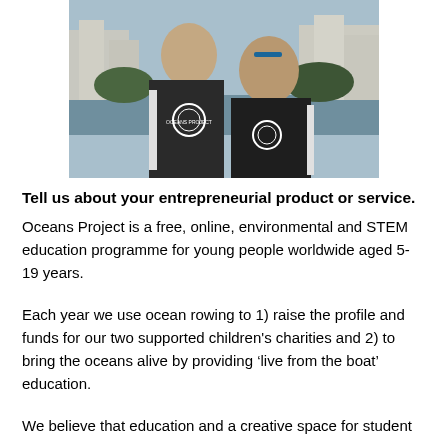[Figure (photo): Two women wearing dark Oceans Project t-shirts posing together outdoors near a waterfront, with city buildings in the background.]
Tell us about your entrepreneurial product or service.
Oceans Project is a free, online, environmental and STEM education programme for young people worldwide aged 5-19 years.
Each year we use ocean rowing to 1) raise the profile and funds for our two supported children's charities and 2) to bring the oceans alive by providing ‘live from the boat’ education.
We believe that education and a creative space for student